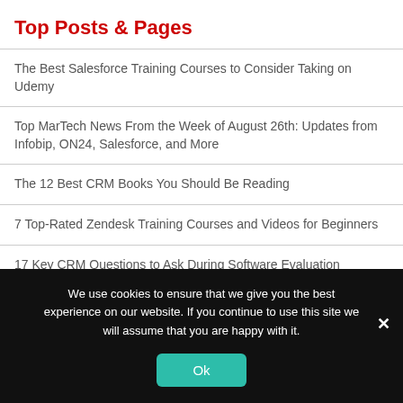Top Posts & Pages
The Best Salesforce Training Courses to Consider Taking on Udemy
Top MarTech News From the Week of August 26th: Updates from Infobip, ON24, Salesforce, and More
The 12 Best CRM Books You Should Be Reading
7 Top-Rated Zendesk Training Courses and Videos for Beginners
17 Key CRM Questions to Ask During Software Evaluation
Best CRM Solutions Vendors, Companies, Software, Tools | Solutions Review
We use cookies to ensure that we give you the best experience on our website. If you continue to use this site we will assume that you are happy with it.